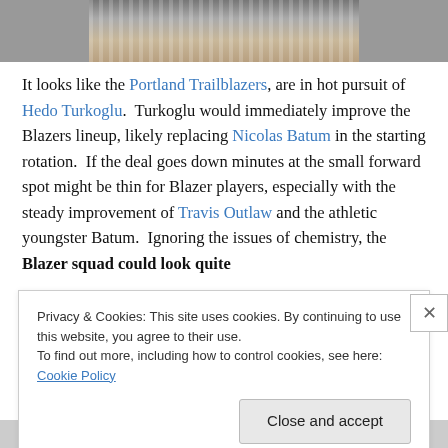[Figure (photo): Cropped photo showing person in striped shirt holding something, bottom portion visible with belt area]
It looks like the Portland Trailblazers, are in hot pursuit of Hedo Turkoglu. Turkoglu would immediately improve the Blazers lineup, likely replacing Nicolas Batum in the starting rotation. If the deal goes down minutes at the small forward spot might be thin for Blazer players, especially with the steady improvement of Travis Outlaw and the athletic youngster Batum. Ignoring the issues of chemistry, the Blazer squad could look quite
Privacy & Cookies: This site uses cookies. By continuing to use this website, you agree to their use.
To find out more, including how to control cookies, see here: Cookie Policy